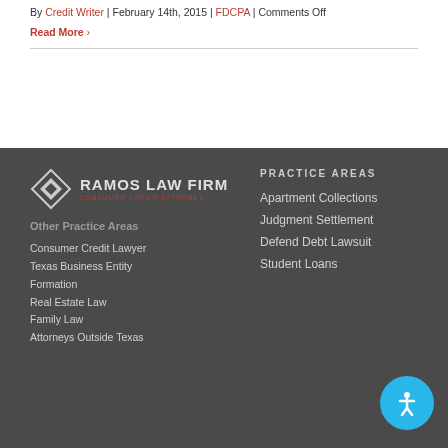By Credit Writer | February 14th, 2015 | FDCPA | Comments Off
Read More >
[Figure (logo): Ramos Law Firm logo with diamond icon and tagline 'Consumer Credit Attorney']
Other Practice Areas
Consumer Credit Lawyer
Texas Business Entity Formation
Real Estate Law
Family Law
Attorneys Outside Texas
PRACTICE AREAS
Apartment Collections
Judgment Settlement
Defend Debt Lawsuit
Student Loans